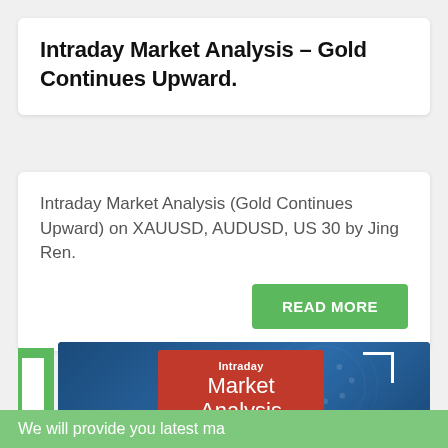Intraday Market Analysis – Gold Continues Upward.
Intraday Market Analysis (Gold Continues Upward) on XAUUSD, AUDUSD, US 30 by Jing Ren.
READ MORE
[Figure (illustration): Blue banner image with stars pattern in background, a red box with text 'Intraday Market Analysis', white corner bracket decoration, and green sidebar element on the left.]
We will provide you latest ma